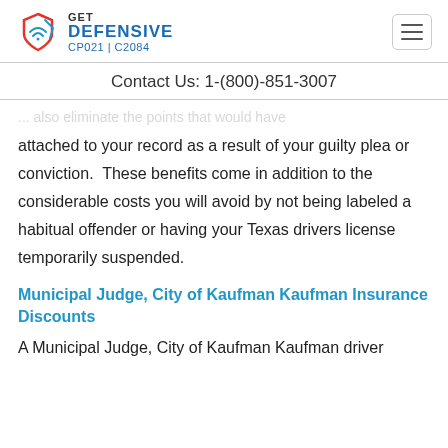GET DEFENSIVE CP021 | C2084
Contact Us: 1-(800)-851-3007
...will also eliminate the points that would have attached to your record as a result of your guilty plea or conviction. These benefits come in addition to the considerable costs you will avoid by not being labeled a habitual offender or having your Texas drivers license temporarily suspended.
Municipal Judge, City of Kaufman Kaufman Insurance Discounts
A Municipal Judge, City of Kaufman Kaufman driver